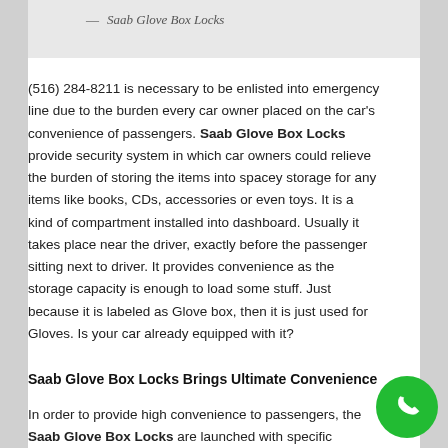— Saab Glove Box Locks
(516) 284-8211 is necessary to be enlisted into emergency line due to the burden every car owner placed on the car's convenience of passengers. Saab Glove Box Locks provide security system in which car owners could relieve the burden of storing the items into spacey storage for any items like books, CDs, accessories or even toys. It is a kind of compartment installed into dashboard. Usually it takes place near the driver, exactly before the passenger sitting next to driver. It provides convenience as the storage capacity is enough to load some stuff. Just because it is labeled as Glove box, then it is just used for Gloves. Is your car already equipped with it?
Saab Glove Box Locks Brings Ultimate Convenience
In order to provide high convenience to passengers, the Saab Glove Box Locks are launched with specific